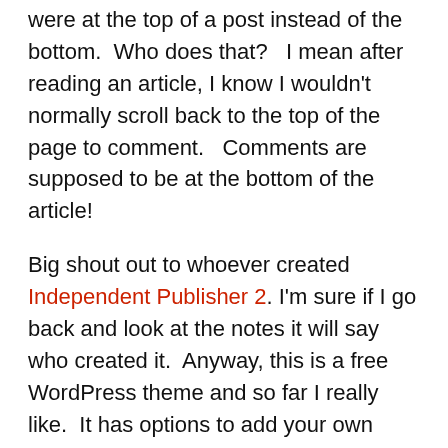were at the top of a post instead of the bottom.  Who does that?   I mean after reading an article, I know I wouldn't normally scroll back to the top of the page to comment.   Comments are supposed to be at the bottom of the article!
Big shout out to whoever created Independent Publisher 2. I'm sure if I go back and look at the notes it will say who created it.  Anyway, this is a free WordPress theme and so far I really like.  It has options to add your own header, have side columns if you choose (maybe coming in the future… had to actually get some writing done today first), and has some pretty nice fonts available.